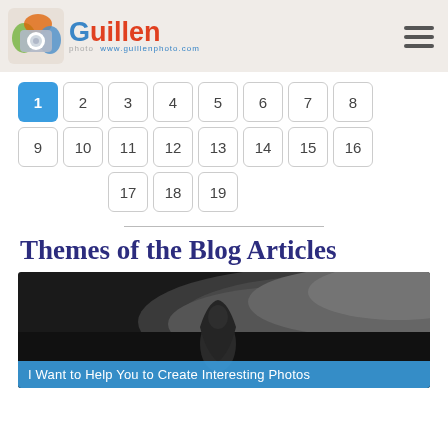Guillen photo www.guillenphoto.com
1 2 3 4 5 6 7 8 9 10 11 12 13 14 15 16 17 18 19
Themes of the Blog Articles
[Figure (photo): Black and white photograph of a hooded stone figure or statue against a misty, dramatic sky background]
I Want to Help You to Create Interesting Photos